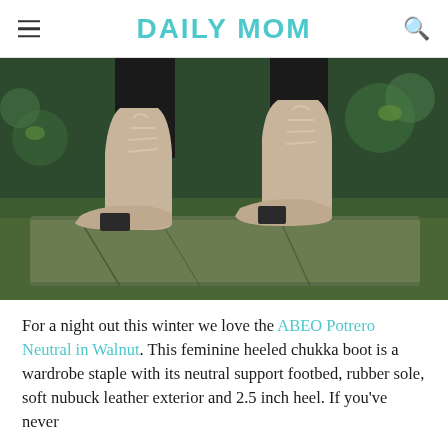DAILY MOM
[Figure (photo): Close-up photo of a woman's feet wearing beige/tan suede lace-up chukka boots with block heels, standing on a moss-covered stone surface with green foliage in the background.]
For a night out this winter we love the ABEO Potrero Neutral in Walnut. This feminine heeled chukka boot is a wardrobe staple with its neutral support footbed, rubber sole, soft nubuck leather exterior and 2.5 inch heel. If you've never